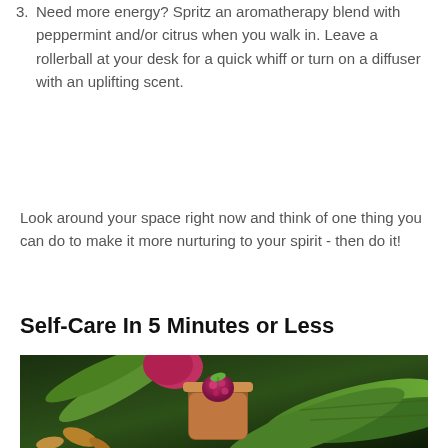3. Need more energy? Spritz an aromatherapy blend with peppermint and/or citrus when you walk in. Leave a rollerball at your desk for a quick whiff or turn on a diffuser with an uplifting scent.
Look around your space right now and think of one thing you can do to make it more nurturing to your spirit - then do it!
Self-Care In 5 Minutes or Less
[Figure (photo): Close-up photo of a small glass jar with a brown smoothie or soup topped with a raspberry and mint leaf, surrounded by green vegetables and leaves on a dark background]